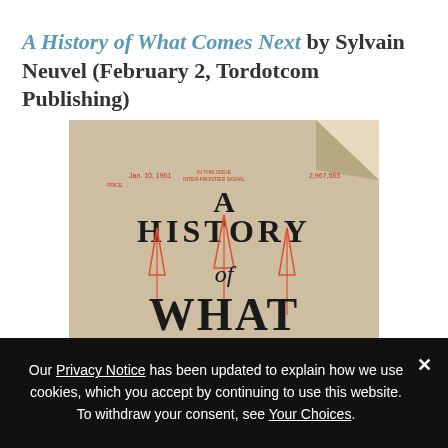A History of What Comes Next by Sylvain Neuvel (February 2, Tordotcom Publishing)
[Figure (illustration): Book cover of 'A History of What Comes Next' showing aged paper background with rocket sketches in red/orange and large bold typography spelling out 'A HISTORY of WHAT COMES' with vintage newspaper-style text.]
Our Privacy Notice has been updated to explain how we use cookies, which you accept by continuing to use this website. To withdraw your consent, see Your Choices.